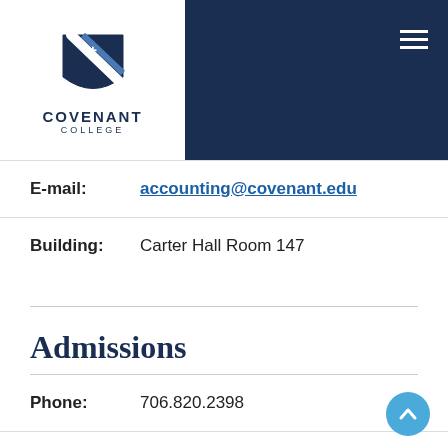[Figure (logo): Covenant College logo with shield emblem and text 'COVENANT COLLEGE' on white background in navy header]
E-mail: accounting@covenant.edu
Building: Carter Hall Room 147
Admissions
Phone: 706.820.2398
E-mail: admissions@covenant.edu